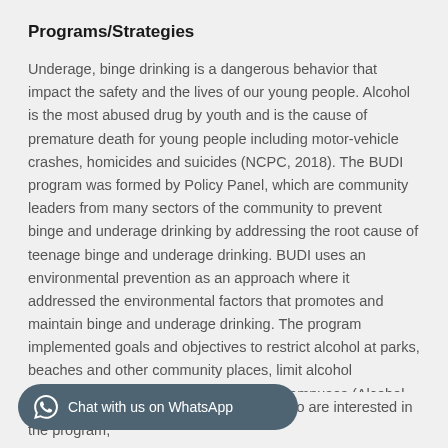Programs/Strategies
Underage, binge drinking is a dangerous behavior that impact the safety and the lives of our young people. Alcohol is the most abused drug by youth and is the cause of premature death for young people including motor-vehicle crashes, homicides and suicides (NCPC, 2018). The BUDI program was formed by Policy Panel, which are community leaders from many sectors of the community to prevent binge and underage drinking by addressing the root cause of teenage binge and underage drinking. BUDI uses an environmental prevention as an approach where it addressed the environmental factors that promotes and maintain binge and underage drinking. The program implemented goals and objectives to restrict alcohol at parks, beaches and other community places, limit alcohol advertising on billboards and university campuses (Alcohol Policy Panel, n.d.).
…nity breakfast every quarter to those who are interested in the program,